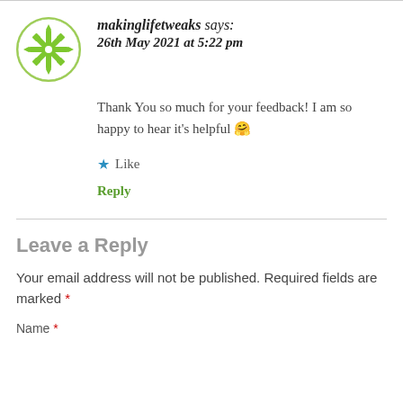[Figure (illustration): Green decorative avatar icon with snowflake/cross pattern in a circle]
makinglifetweaks says:
26th May 2021 at 5:22 pm
Thank You so much for your feedback! I am so happy to hear it's helpful 🤗
★ Like
Reply
Leave a Reply
Your email address will not be published. Required fields are marked *
Name *